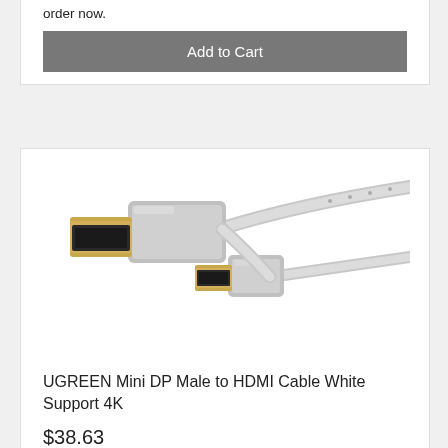order now.
Add to Cart
[Figure (photo): UGREEN Mini DP Male to HDMI Cable White — product photo showing a white/silver cable with two connectors: a large HDMI connector on the left with gold tip and a smaller Mini DisplayPort connector on the right, both with a white braided cable.]
UGREEN Mini DP Male to HDMI Cable White Support 4K
$38.63